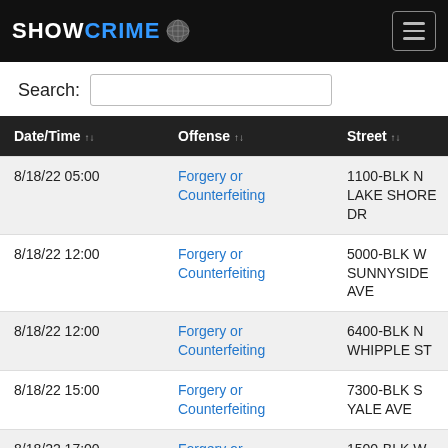SHOWCRIME
| Date/Time | Offense | Street |
| --- | --- | --- |
| 8/18/22 05:00 | Forgery or Counterfeiting | 1100-BLK N LAKE SHORE DR |
| 8/18/22 12:00 | Forgery or Counterfeiting | 5000-BLK W SUNNYSIDE AVE |
| 8/18/22 12:00 | Forgery or Counterfeiting | 6400-BLK N WHIPPLE ST |
| 8/18/22 15:00 | Forgery or Counterfeiting | 7300-BLK S YALE AVE |
| 8/18/22 17:00 | Forgery or Counterfeiting | 1500-BLK W JACKSON BLVD |
| 8/19/22 11:00 | Forgery or Counterfeiting | 1100-BLK S DELANO CT E |
| 8/19/22 12:00 | Forgery or | 1600-BLK S MICHIGAN AVE |